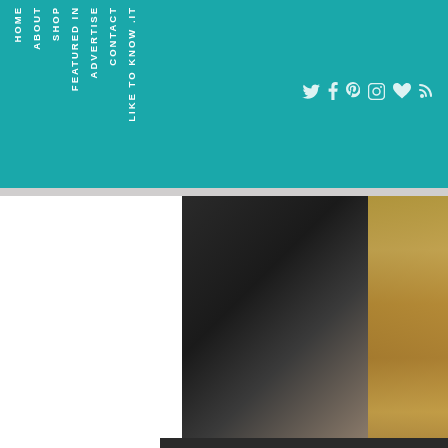HOME ABOUT SHOP FEATURED IN ADVERTISE CONTACT LIKE TO KNOW .IT
[Figure (photo): Close-up photo of a person wearing gold jewelry/bracelet against dark background, partially cropped]
[Figure (photo): Lower portion of a photo showing blonde hair against dark background]